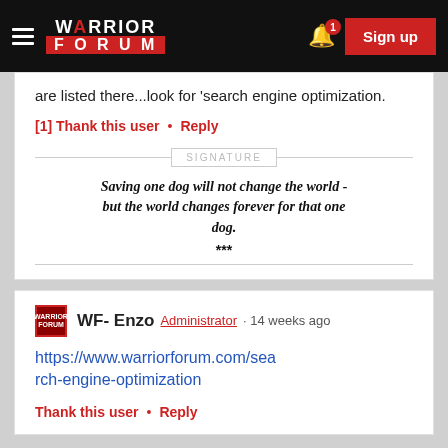Warrior Forum | Sign up
are listed there...look for 'search engine optimization.
[1] Thank this user • Reply
SIGNATURE
Saving one dog will not change the world - but the world changes forever for that one dog.
***
WF- Enzo Administrator · 14 weeks ago
https://www.warriorforum.com/search-engine-optimization
Thank this user • Reply